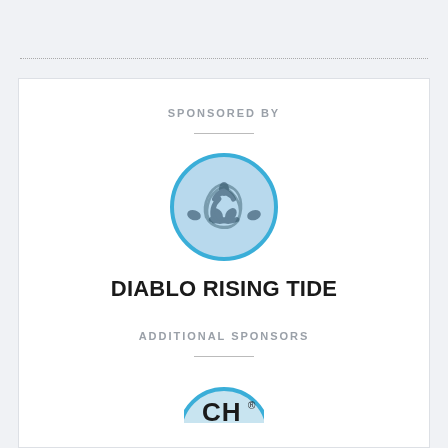SPONSORED BY
[Figure (logo): Diablo Rising Tide circular logo: a blue circle outline with a blue-grey background containing an interconnected swirl of people/arrows symbol in dark blue-grey]
DIABLO RISING TIDE
ADDITIONAL SPONSORS
[Figure (logo): Partially visible circular logo with blue outline at bottom of page, showing letters 'CH' or similar]